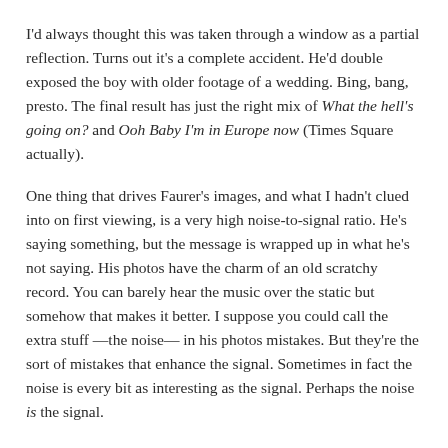I'd always thought this was taken through a window as a partial reflection. Turns out it's a complete accident. He'd double exposed the boy with older footage of a wedding. Bing, bang, presto. The final result has just the right mix of What the hell's going on? and Ooh Baby I'm in Europe now (Times Square actually).
One thing that drives Faurer's images, and what I hadn't clued into on first viewing, is a very high noise-to-signal ratio. He's saying something, but the message is wrapped up in what he's not saying. His photos have the charm of an old scratchy record. You can barely hear the music over the static but somehow that makes it better. I suppose you could call the extra stuff —the noise— in his photos mistakes. But they're the sort of mistakes that enhance the signal. Sometimes in fact the noise is every bit as interesting as the signal. Perhaps the noise is the signal.
Remember the Magic Eye posters that were in every college dorm about 20 years ago? If I show you a picture of a race car, it's pretty boring.